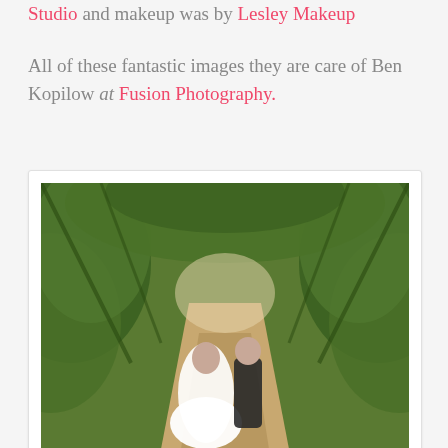Studio and makeup was by Lesley Makeup
All of these fantastic images they are care of Ben Kopilow at Fusion Photography.
[Figure (photo): Wedding photo of a bride in a white gown and a man in a dark suit walking together under a green vine-covered archway on a dirt path surrounded by lush green trees and garden.]
[Figure (photo): Close-up photo of several groomsmen in white shirts and dark suit jackets holding out their hands displaying small blue ring boxes, showing wedding rings.]